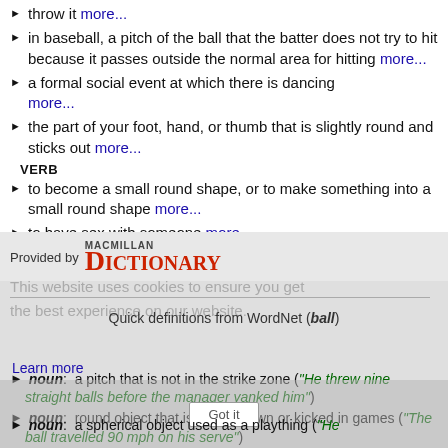throw it more...
in baseball, a pitch of the ball that the batter does not try to hit because it passes outside the normal area for hitting more...
a formal social event at which there is dancing more...
the part of your foot, hand, or thumb that is slightly round and sticks out more...
VERB
to become a small round shape, or to make something into a small round shape more...
to have sex with someone more...
Provided by MACMILLAN DICTIONARY
This website uses cookies to ensure you get the best experience on our website. Learn more
Quick definitions from WordNet (ball)
noun: a pitch that is not in the strike zone ("He threw nine straight balls before the manager yanked him")
noun: round object that is hit or thrown or kicked in games ("The ball travelled 90 mph on his serve")
noun: a spherical object used as a plaything ("He")